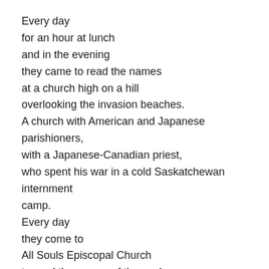Every day
for an hour at lunch
and in the evening
they came to read the names
at a church high on a hill
overlooking the invasion beaches.
A church with American and Japanese parishioners,
with a Japanese-Canadian priest,
who spent his war in a cold Saskatchewan internment
camp.
Every day
they come to
All Souls Episcopal Church
to read the names of the souls
lost.